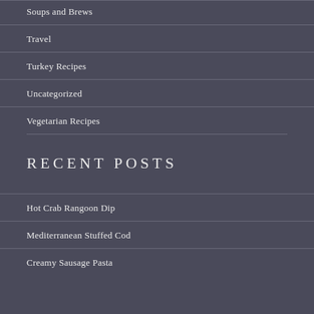Soups and Brews
Travel
Turkey Recipes
Uncategorized
Vegetarian Recipes
RECENT POSTS
Hot Crab Rangoon Dip
Mediterranean Stuffed Cod
Creamy Sausage Pasta